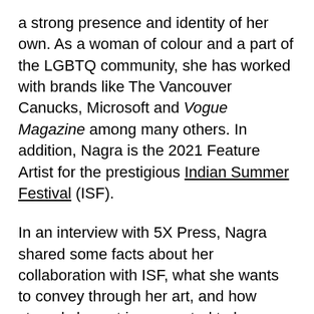a strong presence and identity of her own. As a woman of colour and a part of the LGBTQ community, she has worked with brands like The Vancouver Canucks, Microsoft and Vogue Magazine among many others. In addition, Nagra is the 2021 Feature Artist for the prestigious Indian Summer Festival (ISF).
In an interview with 5X Press, Nagra shared some facts about her collaboration with ISF, what she wants to convey through her art, and how strongly her art is connected to her South Asian roots.
When asked about how her culture has inspired her art, Nagra said that it wasn't until she worked